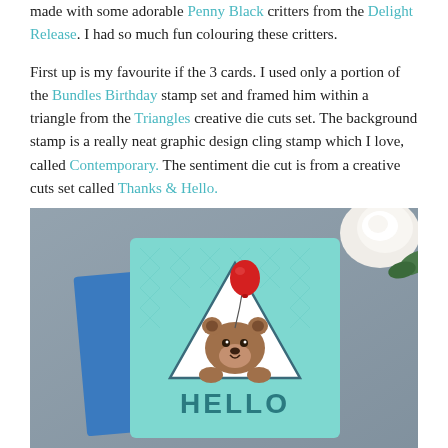made with some adorable Penny Black critters from the Delight Release. I had so much fun colouring these critters.
First up is my favourite if the 3 cards. I used only a portion of the Bundles Birthday stamp set and framed him within a triangle from the Triangles creative die cuts set. The background stamp is a really neat graphic design cling stamp which I love, called Contemporary. The sentiment die cut is from a creative cuts set called Thanks & Hello.
[Figure (photo): A handmade greeting card on a blue envelope against a grey background with white flowers. The teal/mint card features a geometric triangle die cut with a hand-coloured teddy bear holding a red balloon, sitting inside the triangle. Below the triangle is the word HELLO in bold teal letters. The card has a subtle geometric pattern stamped on it.]